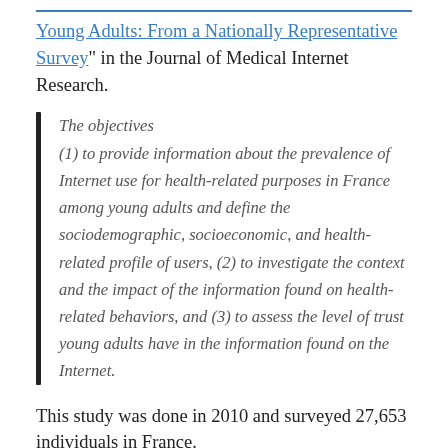Young Adults: From a Nationally Representative Survey" in the Journal of Medical Internet Research.
The objectives (1) to provide information about the prevalence of Internet use for health-related purposes in France among young adults and define the sociodemographic, socioeconomic, and health-related profile of users, (2) to investigate the context and the impact of the information found on health-related behaviors, and (3) to assess the level of trust young adults have in the information found on the Internet.
This study was done in 2010 and surveyed 27,653 individuals in France.